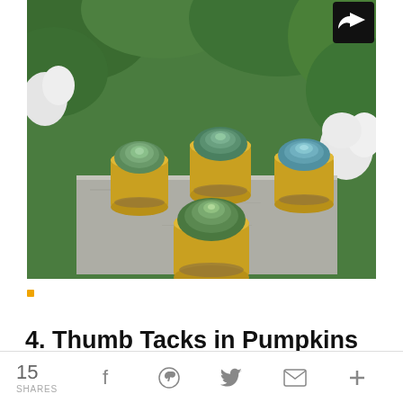[Figure (photo): Five succulents planted in small gold metal pails with handles, arranged on a concrete block outdoors with green leafy shrubs and white flowers in the background.]
4. Thumb Tacks in Pumpkins
15 SHARES  [Facebook] [Pinterest] [Twitter] [Email] [More]